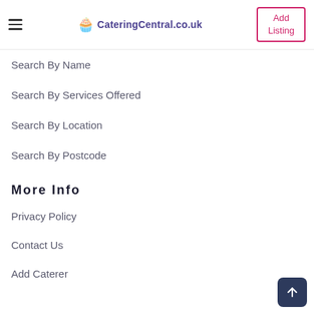CateringCentral.co.uk — Add Listing
Search By Name
Search By Services Offered
Search By Location
Search By Postcode
More Info
Privacy Policy
Contact Us
Add Caterer